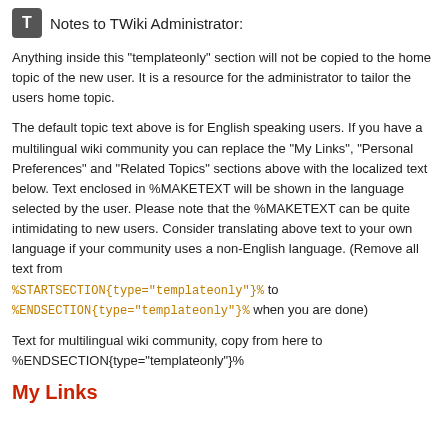Notes to TWiki Administrator:
Anything inside this "templateonly" section will not be copied to the home topic of the new user. It is a resource for the administrator to tailor the users home topic.
The default topic text above is for English speaking users. If you have a multilingual wiki community you can replace the "My Links", "Personal Preferences" and "Related Topics" sections above with the localized text below. Text enclosed in %MAKETEXT will be shown in the language selected by the user. Please note that the %MAKETEXT can be quite intimidating to new users. Consider translating above text to your own language if your community uses a non-English language. (Remove all text from %STARTSECTION{type="templateonly"}% to %ENDSECTION{type="templateonly"}% when you are done)
Text for multilingual wiki community, copy from here to %ENDSECTION{type="templateonly"}%
My Links